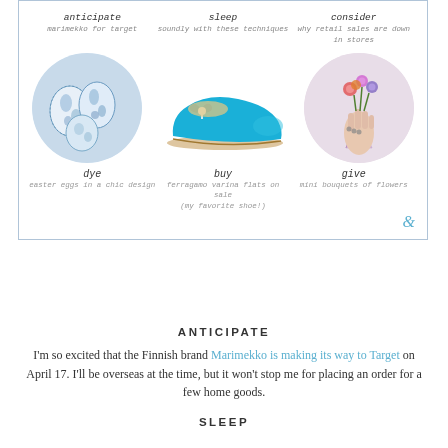[Figure (infographic): A 3x2 grid layout inside a bordered box. Top row has three navigation text items: 'anticipate / marimekko for target', 'sleep / soundly with these techniques', 'consider / why retail sales are down in stores'. Middle row shows three images: circular photo of blue-and-white Easter eggs, a turquoise ballet flat shoe, and a circular photo of a hand holding a mini flower bouquet. Bottom row has labels: 'dye / easter eggs in a chic design', 'buy / ferragamo varina flats on sale (my favorite shoe!)', 'give / mini bouquets of flowers'. Bottom right has a teal ampersand symbol.]
ANTICIPATE
I'm so excited that the Finnish brand Marimekko is making its way to Target on April 17. I'll be overseas at the time, but it won't stop me for placing an order for a few home goods.
SLEEP